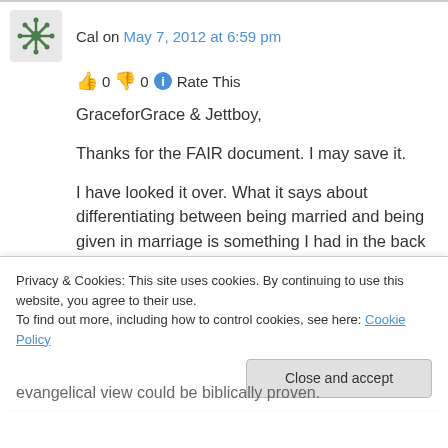Cal on May 7, 2012 at 6:59 pm
👍 0 👎 0 ℹ Rate This
GraceforGrace & Jettboy,
Thanks for the FAIR document. I may save it.
I have looked it over. What it says about differentiating between being married and being given in marriage is something I had in the back of my mind when I originally brought up the
Privacy & Cookies: This site uses cookies. By continuing to use this website, you agree to their use.
To find out more, including how to control cookies, see here: Cookie Policy
evangelical view could be biblically proven.